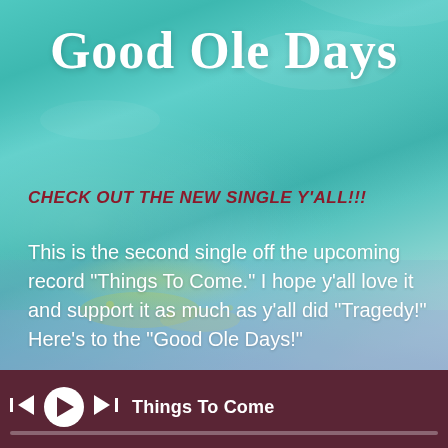[Figure (illustration): Teal/turquoise abstract painted artwork background with watercolor-like texture, blue and purple tones in lower portion, and yellow-green speckles]
Good Ole Days
CHECK OUT THE NEW SINGLE Y'ALL!!!
This is the second single off the upcoming record "Things To Come." I hope y'all love it and support it as much as y'all did "Tragedy!" Here's to the "Good Ole Days!"
[Figure (screenshot): Music player bar at bottom showing skip back, play, skip forward controls and track title 'Things To Come' with a progress bar]